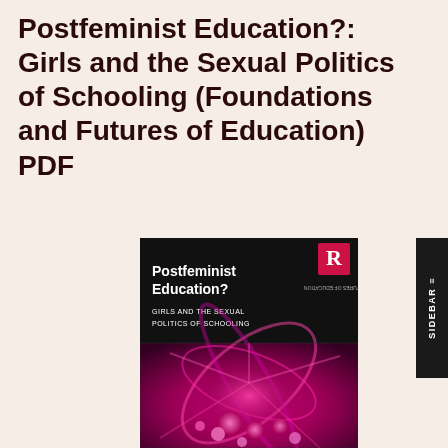Postfeminist Education?: Girls and the Sexual Politics of Schooling (Foundations and Futures of Education) PDF
[Figure (illustration): Book cover of 'Postfeminist Education? Girls and the Sexual Politics of Schooling' published by Routledge. The cover has a black upper half with the title text in white and a Routledge logo in the top right corner, and a lower half showing a vivid pink and purple fractal/abstract image with spiral and bubble-like forms.]